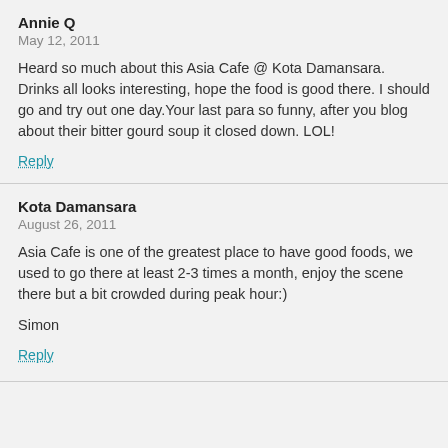Annie Q
May 12, 2011
Heard so much about this Asia Cafe @ Kota Damansara. Drinks all looks interesting, hope the food is good there. I should go and try out one day.Your last para so funny, after you blog about their bitter gourd soup it closed down. LOL!
Reply
Kota Damansara
August 26, 2011
Asia Cafe is one of the greatest place to have good foods, we used to go there at least 2-3 times a month, enjoy the scene there but a bit crowded during peak hour:)
Simon
Reply